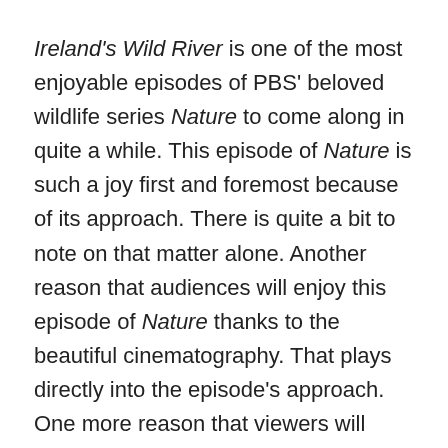Ireland's Wild River is one of the most enjoyable episodes of PBS' beloved wildlife series Nature to come along in quite a while. This episode of Nature is such a joy first and foremost because of its approach. There is quite a bit to note on that matter alone. Another reason that audiences will enjoy this episode of Nature thanks to the beautiful cinematography. That plays directly into the episode's approach. One more reason that viewers will enjoy this episode of Nature is its editing. Much like the cinematography, the editing plays directly in to the episode's overall approach. All three factors together make this episode of Nature one that any viewer should see at least once.
PBS' Nature has been a hit with viewers for years. That is because of its general approach. It has typically stayed as